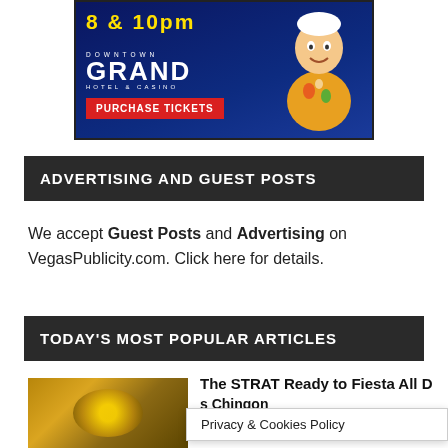[Figure (photo): Downtown Grand Hotel & Casino advertisement banner with text '8 & 10pm', animated character, and 'PURCHASE TICKETS' red button]
ADVERTISING AND GUEST POSTS
We accept Guest Posts and Advertising on VegasPublicity.com. Click here for details.
TODAY'S MOST POPULAR ARTICLES
[Figure (photo): Thumbnail image with golden circular motif]
The STRAT Ready to Fiesta All D... s Chingon K... Ball All...
Privacy & Cookies Policy